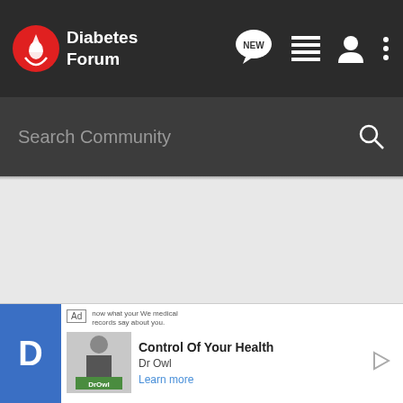[Figure (screenshot): Diabetes Forum logo with red circle containing a drop of blood and a hand, with white text 'Diabetes Forum']
[Figure (screenshot): Navigation bar icons: NEW speech bubble, list/menu icon, user/profile icon, vertical dots menu]
Search Community
[Figure (screenshot): Grey content area (blank/loading state)]
Control Of Your Health
Dr Owl
Learn more